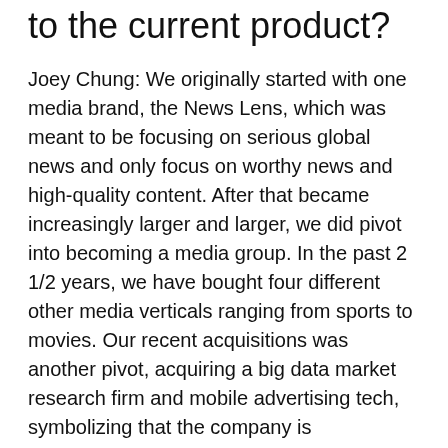to the current product?
Joey Chung: We originally started with one media brand, the News Lens, which was meant to be focusing on serious global news and only focus on worthy news and high-quality content. After that became increasingly larger and larger, we did pivot into becoming a media group. In the past 2 1/2 years, we have bought four different other media verticals ranging from sports to movies. Our recent acquisitions was another pivot, acquiring a big data market research firm and mobile advertising tech, symbolizing that the company is increasingly becoming more and more big data and tech service-related, complementary to our existing media business.
How much money have you raised in total so far? When was the recent funding round?